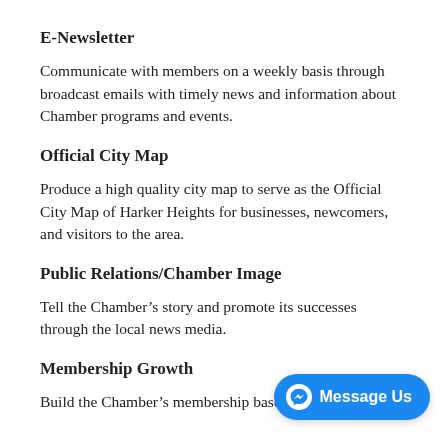E-Newsletter
Communicate with members on a weekly basis through broadcast emails with timely news and information about Chamber programs and events.
Official City Map
Produce a high quality city map to serve as the Official City Map of Harker Heights for businesses, newcomers, and visitors to the area.
Public Relations/Chamber Image
Tell the Chamber’s story and promote its successes through the local news media.
Membership Growth
Build the Chamber’s membership base by recruiting new members and retaining current ones.